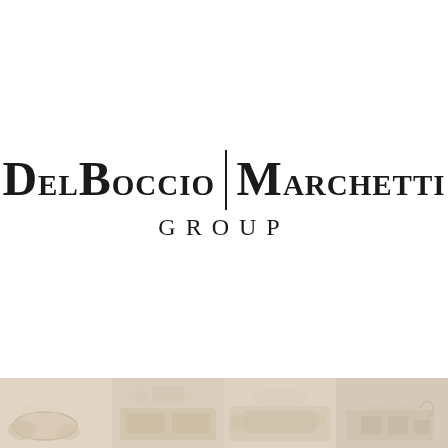[Figure (logo): DelBoccio | Marchetti Group logo in bold serif font with vertical divider bar between the two names, and GROUP in spaced uppercase below]
[Figure (photo): Strip of interior design/home decor photographs at the bottom of the page showing warm neutral-toned living room furniture and decor]